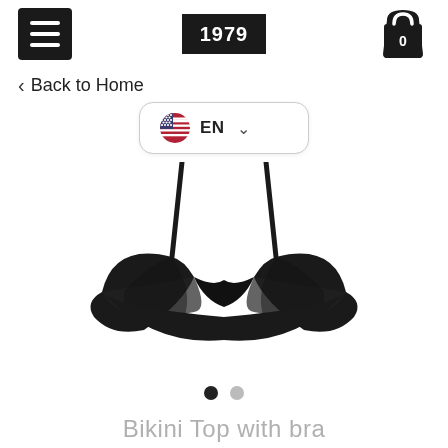Menu | 1979 | Cart (0)
< Back to Home
EN
[Figure (photo): A black bikini top with bra-style underwire cups and thin shoulder straps, shown on a white background. The top is a bandeau/balconette style in solid black fabric.]
Bikini Top with bra